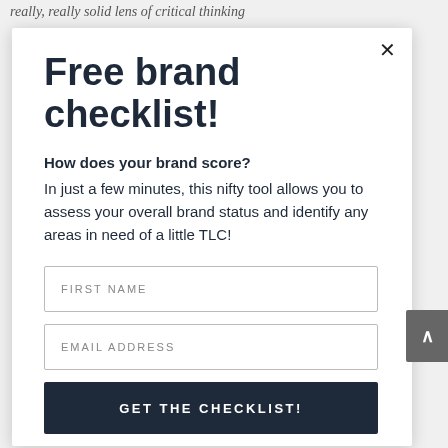really, really solid lens of critical thinking
Free brand checklist!
How does your brand score?
In just a few minutes, this nifty tool allows you to assess your overall brand status and identify any areas in need of a little TLC!
FIRST NAME
EMAIL ADDRESS
GET THE CHECKLIST!